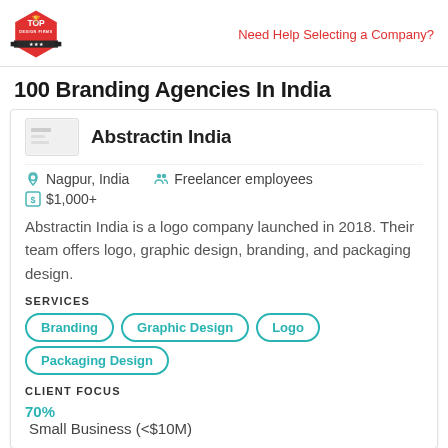Top Design Firms logo | Need Help Selecting a Company?
100 Branding Agencies In India
[Figure (logo): Abstractin India company logo placeholder]
Abstractin India
Nagpur, India   Freelancer employees
$1,000+
Abstractin India is a logo company launched in 2018. Their team offers logo, graphic design, branding, and packaging design.
SERVICES
Branding
Graphic Design
Logo
Packaging Design
CLIENT FOCUS
70% Small Business (<$10M)